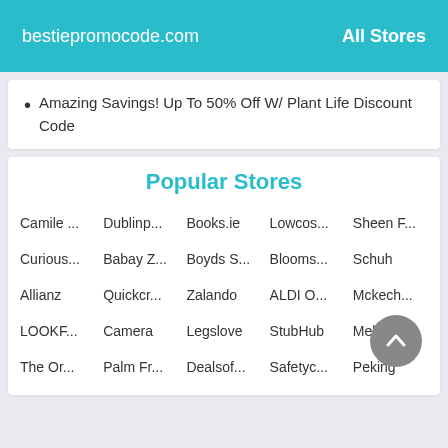bestiepromocode.com   All Stores
Amazing Savings! Up To 50% Off W/ Plant Life Discount Code
Popular Stores
Camile ...   Dublinp...   Books.ie   Lowcos...   Sheen F...
Curious...   Babay Z...   Boyds S...   Blooms...   Schuh
Allianz   Quickcr...   Zalando   ALDI O...   Mckech...
LOOKF...   Camera   Legslove   StubHub   Melodie...
The Or...   Palm Fr...   Dealsof...   Safetyc...   Peking